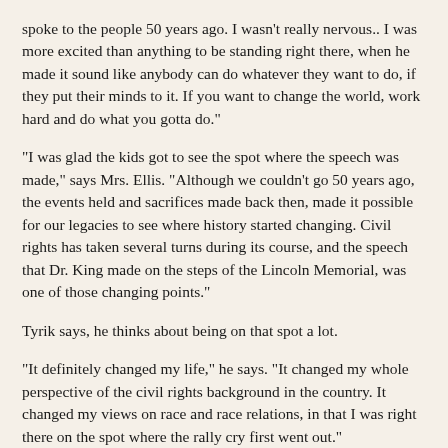spoke to the people 50 years ago. I wasn't really nervous.. I was more excited than anything to be standing right there, when he made it sound like anybody can do whatever they want to do, if they put their minds to it. If you want to change the world, work hard and do what you gotta do."
"I was glad the kids got to see the spot where the speech was made," says Mrs. Ellis. "Although we couldn't go 50 years ago, the events held and sacrifices made back then, made it possible for our legacies to see where history started changing. Civil rights has taken several turns during its course, and the speech that Dr. King made on the steps of the Lincoln Memorial, was one of those changing points."
Tyrik says, he thinks about being on that spot a lot.
"It definitely changed my life," he says. "It changed my whole perspective of the civil rights background in the country. It changed my views on race and race relations, in that I was right there on the spot where the rally cry first went out."